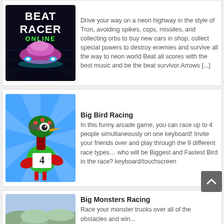[Figure (screenshot): Beat Racer Online game thumbnail - neon car on dark highway]
Drive your way on a neon highway in the style of Tron, avoiding spikes, cops, missiles, and collecting orbs to buy new cars in shop, collect special powers to destroy enemies and survive all the way to neon world Beat all scores with the best music and be the beat survivor Arrows [...]
Big Bird Racing
[Figure (screenshot): Big Bird Racing game thumbnail - cartoon bird racer with number 4 on blue sunburst background]
In this funny arcade game, you can race up to 4 people simultaneously on one keyboard! Invite your friends over and play through the 9 different race types… who will be Biggest and Fastest Bird in the race? keyboard/touchscreen
Big Monsters Racing
[Figure (screenshot): Big Monsters Racing game thumbnail - partial view of monster truck game]
Race your monster trucks over all of the obstacles and win...